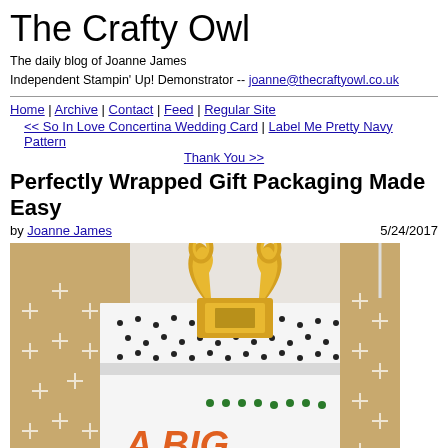The Crafty Owl
The daily blog of Joanne James
Independent Stampin' Up! Demonstrator -- joanne@thecraftyowl.co.uk
Home | Archive | Contact | Feed | Regular Site
<< So In Love Concertina Wedding Card | Label Me Pretty Navy Pattern Thank You >>
Perfectly Wrapped Gift Packaging Made Easy
by Joanne James   5/24/2017
[Figure (photo): Close-up photograph of a gold binder clip attached to the top of a white card with a black polka dot pattern. The card shows text 'A BIG...' partially visible. Behind the card is a kraft paper gift bag with white cross/plus pattern. The image is cropped showing gift packaging elements.]